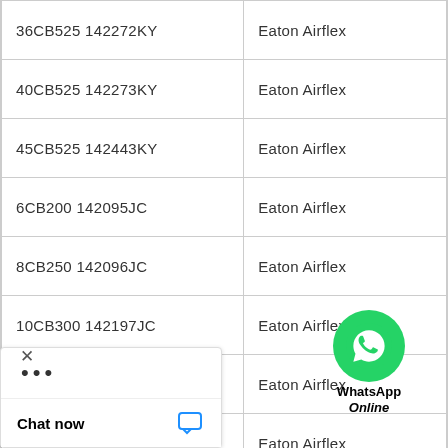| 36CB525 142272KY | Eaton Airflex |
| 40CB525 142273KY | Eaton Airflex |
| 45CB525 142443KY | Eaton Airflex |
| 6CB200 142095JC | Eaton Airflex |
| 8CB250 142096JC | Eaton Airflex |
| 10CB300 142197JC | Eaton Airflex |
| 12CB350 142098JC | Eaton Airflex |
| 14CB400 142087JC | Eaton Airflex |
| ...200 142840JB | Eaton Airflex |
| ...200 142095JG | Eaton Airflex |
|  | Eaton Airflex |
[Figure (illustration): WhatsApp Online icon with green circular logo and text 'WhatsApp Online' in bold/italic]
× (close button)
... (menu dots)
Chat now (with chat icon)